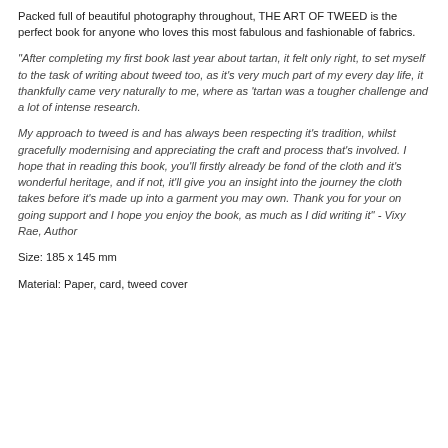Packed full of beautiful photography throughout, THE ART OF TWEED is the perfect book for anyone who loves this most fabulous and fashionable of fabrics.
"After completing my first book last year about tartan, it felt only right, to set myself to the task of writing about tweed too, as it's very much part of my every day life, it thankfully came very naturally to me, where as 'tartan was a tougher challenge and a lot of intense research.
My approach to tweed is and has always been respecting it's tradition, whilst gracefully modernising and appreciating the craft and process that's involved. I hope that in reading this book, you'll firstly already be fond of the cloth and it's wonderful heritage, and if not, it'll give you an insight into the journey the cloth takes before it's made up into a garment you may own. Thank you for your on going support and I hope you enjoy the book, as much as I did writing it" - Vixy Rae, Author
Size: 185 x 145 mm
Material: Paper, card, tweed cover